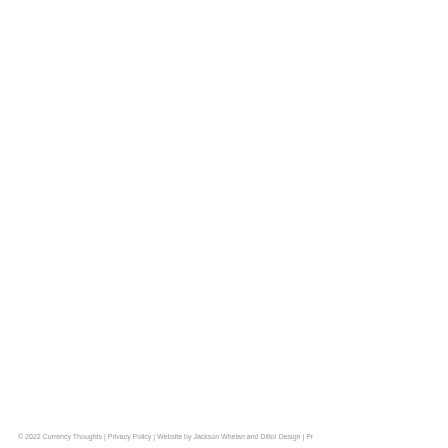© 2022 Currency Thoughts | Privacy Policy | Website by Jackson Whelan and Ditto! Design | Pr...